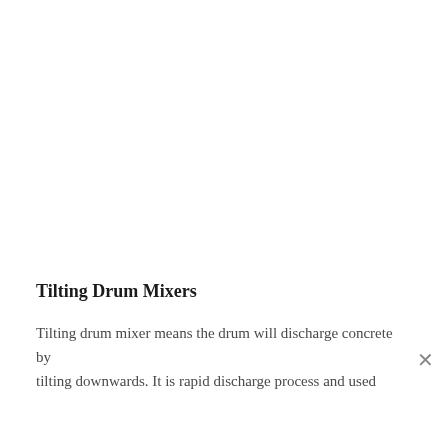Tilting Drum Mixers
Tilting drum mixer means the drum will discharge concrete by tilting downwards. It is rapid discharge process and used for